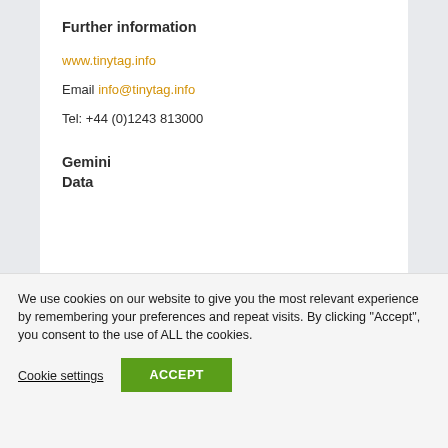Further information
www.tinytag.info
Email info@tinytag.info
Tel: +44 (0)1243 813000
Gemini
Data
We use cookies on our website to give you the most relevant experience by remembering your preferences and repeat visits. By clicking “Accept”, you consent to the use of ALL the cookies.
Cookie settings
ACCEPT